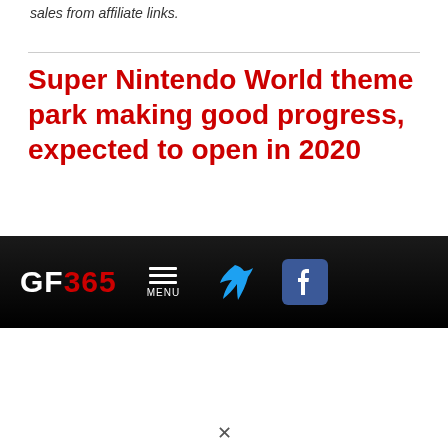sales from affiliate links.
Super Nintendo World theme park making good progress, expected to open in 2020
Kyle | September 29, 2019
Categories: Nerd Culture, News, Nintendo
Comments
The Mario-themed section of Universal Studios Japan, Super Nintendo World, is finally starting to
[Figure (other): GF365 navigation bar with logo, menu button, Twitter and Facebook icons on dark background]